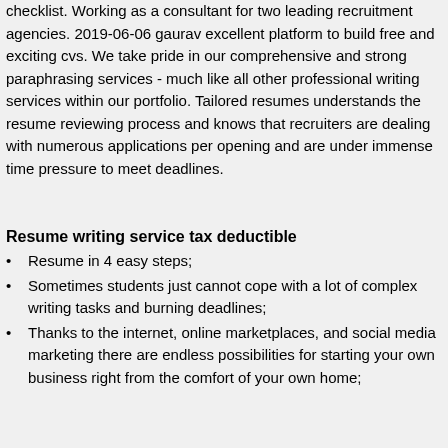checklist. Working as a consultant for two leading recruitment agencies. 2019-06-06 gaurav excellent platform to build free and exciting cvs. We take pride in our comprehensive and strong paraphrasing services - much like all other professional writing services within our portfolio. Tailored resumes understands the resume reviewing process and knows that recruiters are dealing with numerous applications per opening and are under immense time pressure to meet deadlines.
Resume writing service tax deductible
Resume in 4 easy steps;
Sometimes students just cannot cope with a lot of complex writing tasks and burning deadlines;
Thanks to the internet, online marketplaces, and social media marketing there are endless possibilities for starting your own business right from the comfort of your own home;